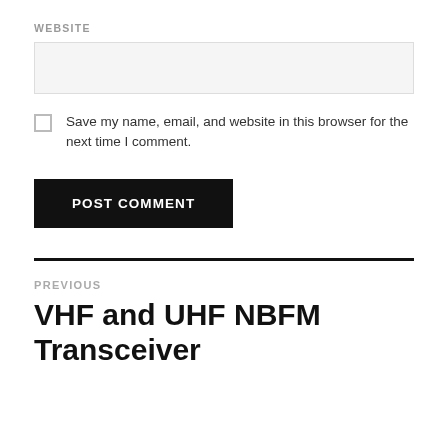WEBSITE
Save my name, email, and website in this browser for the next time I comment.
POST COMMENT
PREVIOUS
VHF and UHF NBFM Transceiver